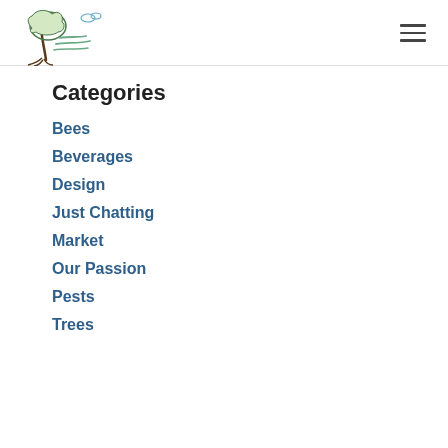[Figure (logo): Illustration of a tree being blown by wind with wavy lines and small clouds, sketched in pen-and-ink style with green and blue tones]
Categories
Bees
Beverages
Design
Just Chatting
Market
Our Passion
Pests
Trees